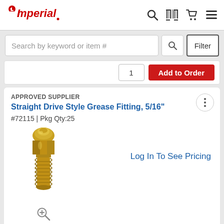Imperial
Search by keyword or item #
1  Add to Order
APPROVED SUPPLIER
Straight Drive Style Grease Fitting, 5/16"
#72115 | Pkg Qty:25
[Figure (photo): Brass straight drive style grease fitting showing threaded body and ball-check head]
Log In To See Pricing